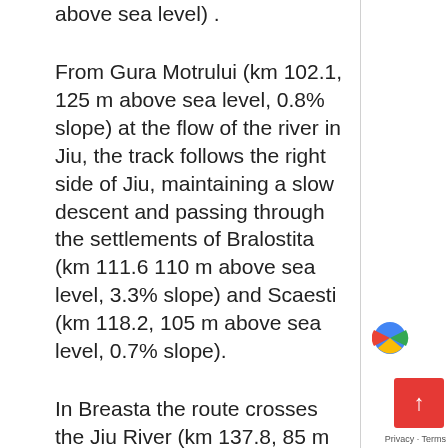above sea level) .
From Gura Motrului (km 102.1, 125 m above sea level, 0.8% slope) at the flow of the river in Jiu, the track follows the right side of Jiu, maintaining a slow descent and passing through the settlements of Bralostita (km 111.6 110 m above sea level, 3.3% slope) and Scaesti (km 118.2, 105 m above sea level, 0.7% slope).
In Breasta the route crosses the Jiu River (km 137.8, 85 m above sea level, 2.1% slope), entering Craiova, where the route ends at the botanical garden (114.5, 91 m above sea level
[Figure (other): Google Maps scroll-to-top button (red) with Google logo and Privacy/Terms links in bottom right corner]